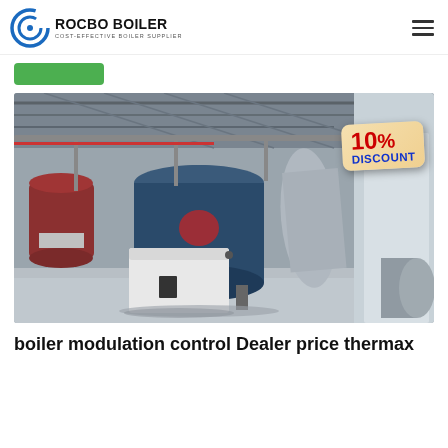ROCBO BOILER — COST-EFFECTIVE BOILER SUPPLIER
[Figure (photo): Industrial boiler facility interior showing multiple large cylindrical boilers with piping and equipment. A 10% DISCOUNT badge is overlaid in the top-right corner of the image.]
boiler modulation control Dealer price thermax